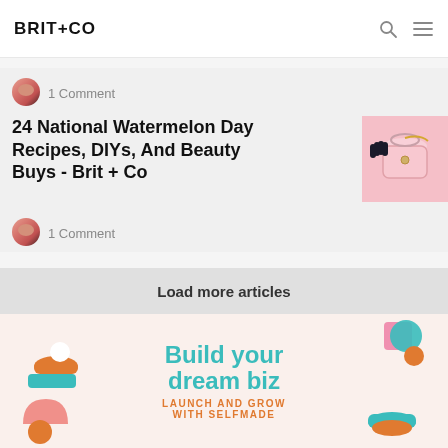BRIT+CO
1 Comment
24 National Watermelon Day Recipes, DIYs, And Beauty Buys - Brit + Co
1 Comment
Load more articles
[Figure (infographic): Build your dream biz - Launch and grow with Selfmade promotional banner with teal and orange decorative shapes]